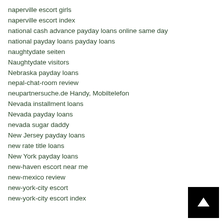naperville escort girls
naperville escort index
national cash advance payday loans online same day
national payday loans payday loans
naughtydate seiten
Naughtydate visitors
Nebraska payday loans
nepal-chat-room review
neupartnersuche.de Handy, Mobiltelefon
Nevada installment loans
Nevada payday loans
nevada sugar daddy
New Jersey payday loans
new rate title loans
New York payday loans
new-haven escort near me
new-mexico review
new-york-city escort
new-york-city escort index